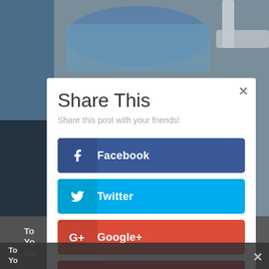[Figure (screenshot): Background photo showing medical/industrial equipment with blue wrapping, partially visible behind a share dialog modal]
Share This
Share this post with your friends!
Facebook
Twitter
Google+
Pinterest
reddit
LinkedIn